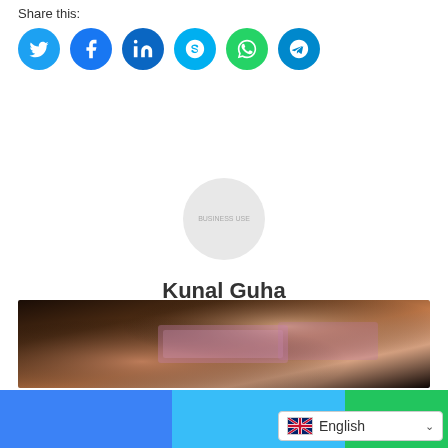Share this:
[Figure (illustration): Social media sharing buttons: Twitter (blue), Facebook (blue), LinkedIn (dark blue), Skype (light blue), WhatsApp (green), Telegram (blue)]
[Figure (illustration): Circular grey avatar placeholder with text 'BUSINESS USE']
Kunal Guha
Director, Founder and Editor in Chief
[Figure (photo): Photo of hands holding purple/pink currency banknotes]
[Figure (illustration): Bottom bar with blue, cyan, and green color blocks, and an English language selector widget with UK flag]